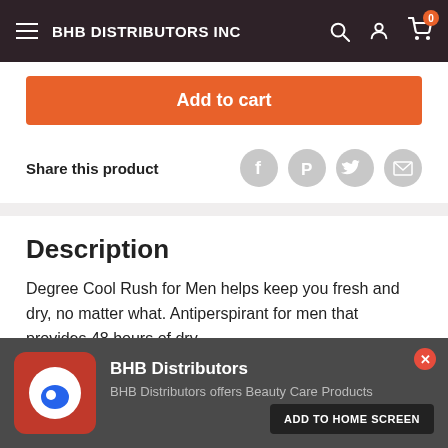BHB DISTRIBUTORS INC
Add to cart
Share this product
Description
Degree Cool Rush for Men helps keep you fresh and dry, no matter what. Antiperspirant for men that provides 48 hours of dry
[Figure (screenshot): BHB Distributors app install popup with logo, description 'BHB Distributors offers Beauty Care Products' and an 'ADD TO HOME SCREEN' button]